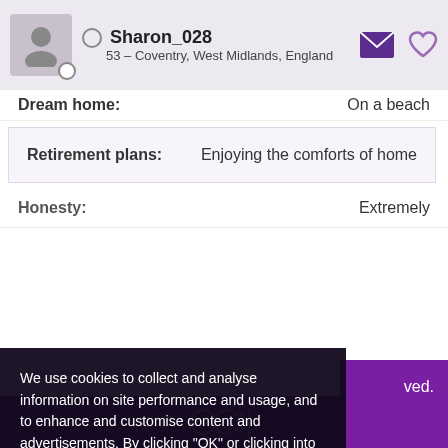Sharon_028 — 53 – Coventry, West Midlands, England
Dream home: On a beach
Retirement plans: Enjoying the comforts of home
Honesty: Extremely
We use cookies to collect and analyse information on site performance and usage, and to enhance and customise content and advertisements. By clicking "OK" or clicking into any content on this site you agree to allow cookies to be placed. To find out more or to change your cookie settings, visit the cookies section of our Privacy Policy.
OK
ved.